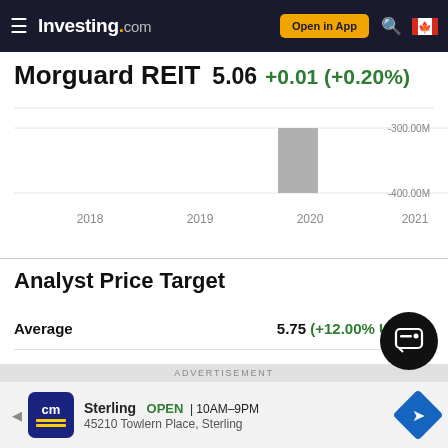Investing.com — Open in App
Morguard REIT  5.06  +0.01 (+0.20%)
[Figure (bar-chart): Bar chart showing a large negative bar around 2020, with y-axis labels -300.00M and -400.00M]
Analyst Price Target
|  |  |
| --- | --- |
| Average | 5.75 (+12.00% Upside) |
| High |  |
ADVERTISEMENT
Sterling  OPEN  10AM–9PM  45210 Towlern Place, Sterling